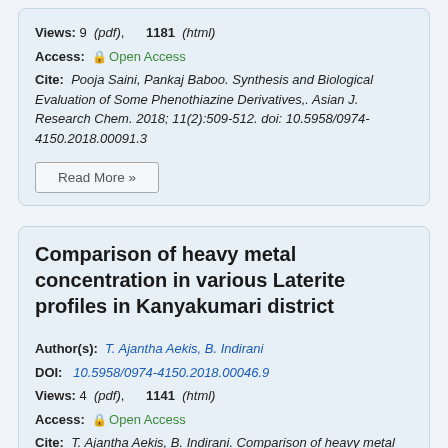Views: 9 (pdf), 1181 (html)
Access: Open Access
Cite: Pooja Saini, Pankaj Baboo. Synthesis and Biological Evaluation of Some Phenothiazine Derivatives,. Asian J. Research Chem. 2018; 11(2):509-512. doi: 10.5958/0974-4150.2018.00091.3
Read More »
Comparison of heavy metal concentration in various Laterite profiles in Kanyakumari district
Author(s): T. Ajantha Aekis, B. Indirani
DOI: 10.5958/0974-4150.2018.00046.9
Views: 4 (pdf), 1141 (html)
Access: Open Access
Cite: T. Ajantha Aekis, B. Indirani. Comparison of heavy metal concentration in various Laterite profiles in Kanyakumari